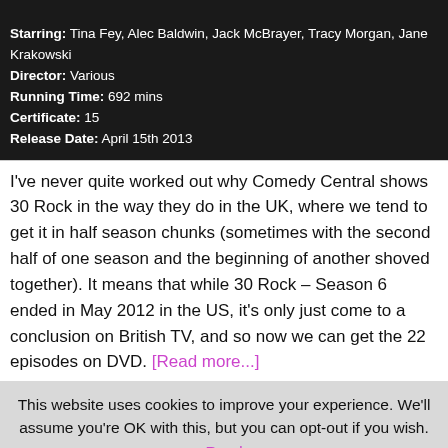[Figure (photo): Top portion of a TV show image, partially cropped]
Starring: Tina Fey, Alec Baldwin, Jack McBrayer, Tracy Morgan, Jane Krakowski
Director: Various
Running Time: 692 mins
Certificate: 15
Release Date: April 15th 2013
I've never quite worked out why Comedy Central shows 30 Rock in the way they do in the UK, where we tend to get it in half season chunks (sometimes with the second half of one season and the beginning of another shoved together). It means that while 30 Rock – Season 6 ended in May 2012 in the US, it's only just come to a conclusion on British TV, and so now we can get the 22 episodes on DVD. [Read more...]
This website uses cookies to improve your experience. We'll assume you're OK with this, but you can opt-out if you wish. Read More Accept Reject